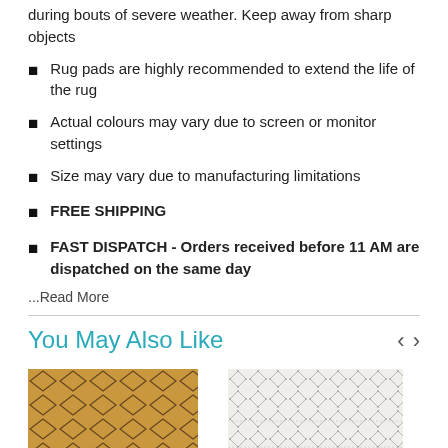during bouts of severe weather. Keep away from sharp objects
Rug pads are highly recommended to extend the life of the rug
Actual colours may vary due to screen or monitor settings
Size may vary due to manufacturing limitations
FREE SHIPPING
FAST DISPATCH - Orders received before 11 AM are dispatched on the same day
...Read More
You May Also Like
[Figure (photo): Tan/brown jute rug with diamond pattern]
[Figure (photo): White/cream rug with geometric diamond and dot pattern]